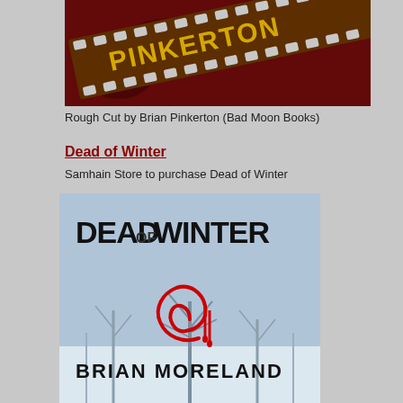[Figure (photo): Book cover top portion showing 'Rough Cut by Pinkerton' with a film strip on a dark red background with text PINKERTON visible in gold letters]
Rough Cut by Brian Pinkerton (Bad Moon Books)
Dead of Winter
Samhain Store to purchase Dead of Winter
[Figure (photo): Book cover for 'Dead of Winter' by Brian Moreland, showing title text in horror style with a red spiral symbol dripping blood, and bare winter trees in a snowy background]